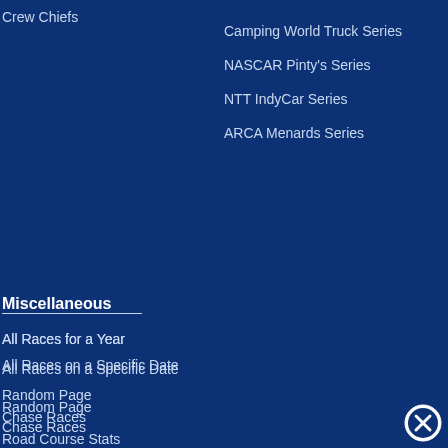Crew Chiefs
Camping World Truck Series
NASCAR Pinty's Series
NTT IndyCar Series
ARCA Menards Series
Miscellaneous
All Races for a Year
All Races on a Specific Date
Random Page
Chase Races
Road Course Stats
Restrictor Plate Races
All Star Race Stats
Links
Stats By Car Number